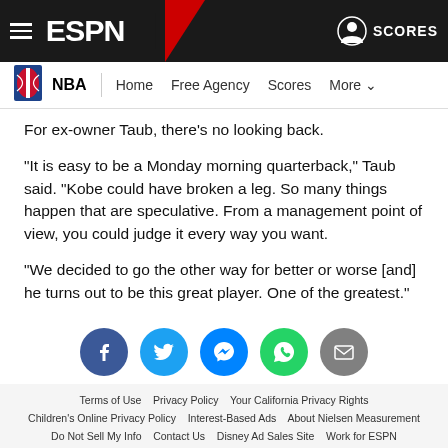ESPN NBA Home Free Agency Scores More
For ex-owner Taub, there's no looking back.
"It is easy to be a Monday morning quarterback," Taub said. "Kobe could have broken a leg. So many things happen that are speculative. From a management point of view, you could judge it every way you want.
"We decided to go the other way for better or worse [and] he turns out to be this great player. One of the greatest."
[Figure (infographic): Social sharing icons: Facebook (blue), Twitter (light blue), Messenger (blue), WhatsApp (green), Email (gray)]
Terms of Use  Privacy Policy  Your California Privacy Rights  Children's Online Privacy Policy  Interest-Based Ads  About Nielsen Measurement  Do Not Sell My Info  Contact Us  Disney Ad Sales Site  Work for ESPN  Copyright: © ESPN Enterprises, Inc. All rights reserved.